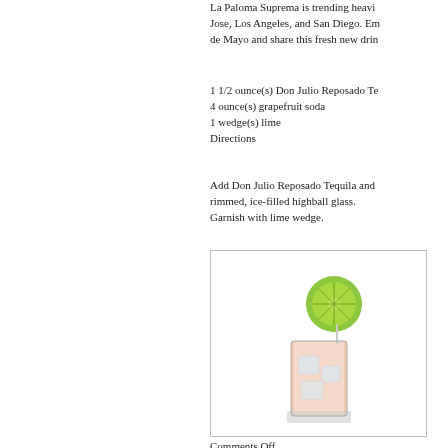La Paloma Suprema is trending heavily in San Jose, Los Angeles, and San Diego. Embrace Cinco de Mayo and share this fresh new drink.
1 1/2 ounce(s) Don Julio Reposado Tequila
4 ounce(s) grapefruit soda
1 wedge(s) lime
Directions
Add Don Julio Reposado Tequila and grapefruit soda to a salt-rimmed, ice-filled highball glass. Garnish with lime wedge.
[Figure (photo): A highball glass filled with a pink drink and ice, garnished with a lime wedge on the rim, on a white background.]
Comments Off